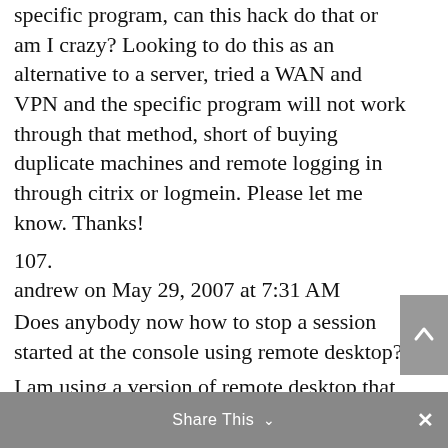specific program, can this hack do that or am I crazy? Looking to do this as an alternative to a server, tried a WAN and VPN and the specific program will not work through that method, short of buying duplicate machines and remote logging in through citrix or logmein. Please let me know. Thanks!
107.
andrew on May 29, 2007 at 7:31 AM
Does anybody now how to stop a session started at the console using remote desktop?
I am using a version of remote desktop that comes with the windows 2003 cd. It controls the console session.
108.
Justin on May 30, 2007 at 1:43 AM